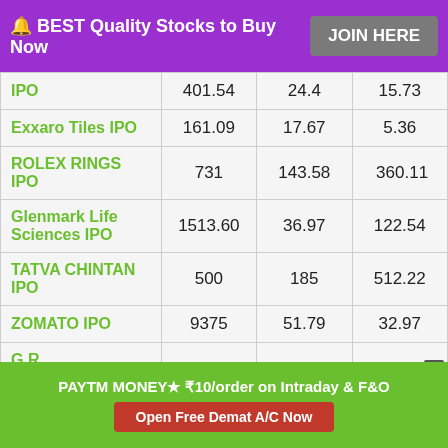🔔 BEST Quality Stocks to Buy Now  JOIN HERE
| IPO Name | Col1 | Col2 | Col3 |
| --- | --- | --- | --- |
| IPO | 401.54 | 24.4 | 15.73 |
| Exxaro Tiles IPO | 161.09 | 17.67 | 5.36 |
| ROLEX RINGS IPO | 731 | 143.58 | 360.11 |
| Glenmark Life Sciences IPO | 1513.60 | 36.97 | 122.54 |
| TATVA CHINTAN IPO | 500 | 185 | 512.22 |
| ZOMATO IPO | 9375 | 51.79 | 32.97 |
| G R |  |  |  |
PAYTM MONEY★ ₹10/order on Intraday & F&O — Open Free Demat A/C Now